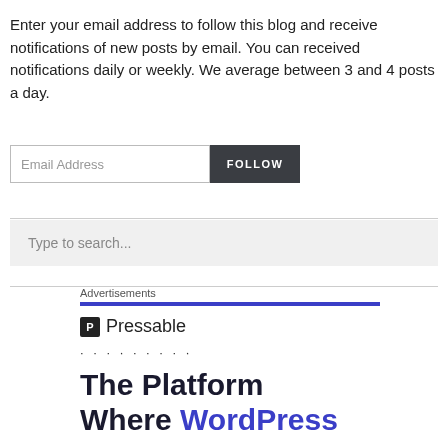Enter your email address to follow this blog and receive notifications of new posts by email. You can received notifications daily or weekly. We average between 3 and 4 posts a day.
[Figure (other): Email address input field with placeholder text 'Email Address' and a dark 'FOLLOW' button]
[Figure (other): Search input field with placeholder text 'Type to search...' on gray background]
Advertisements
[Figure (logo): Pressable logo with 'P' icon and 'Pressable' text, followed by a row of dots, then large bold text 'The Platform Where WordPress']